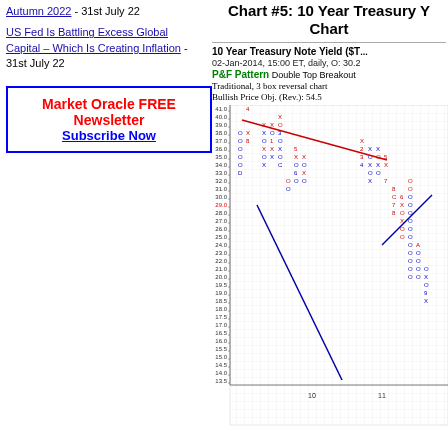Autumn 2022 - 31st July 22
US Fed Is Battling Excess Global Capital – Which Is Creating Inflation - 31st July 22
Market Oracle FREE Newsletter Subscribe Now
Chart #5: 10 Year Treasury Y... Chart...
10 Year Treasury Note Yield ($T...
02-Jan-2014, 15:00 ET, daily, O: 30.2
P&F Pattern Double Top Breakout
Traditional, 3 box reversal chart
Bullish Price Obj. (Rev.): 54.5
[Figure (other): Point and Figure chart for 10 Year Treasury Note Yield showing X and O columns with price levels from 13.5 to 41.0 on y-axis and columns 10-11 visible on x-axis. Contains blue diagonal trend line going down-right and red diagonal trend line. Green P&F pattern annotation shows Double Top Breakout.]